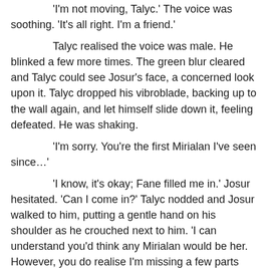'I'm not moving, Talyc.' The voice was soothing. 'It's all right. I'm a friend.'

Talyc realised the voice was male. He blinked a few more times. The green blur cleared and Talyc could see Josur's face, a concerned look upon it. Talyc dropped his vibroblade, backing up to the wall again, and let himself slide down it, feeling defeated. He was shaking.

'I'm sorry. You're the first Mirialan I've seen since…'

'I know, it's okay; Fane filled me in.' Josur hesitated. 'Can I come in?' Talyc nodded and Josur walked to him, putting a gentle hand on his shoulder as he crouched next to him. 'I can understand you'd think any Mirialan would be her. However, you do realise I'm missing a few parts and have a few parts too many, if you catch my meaning.' Talyc laughed, despite himself. 'Come on, let's